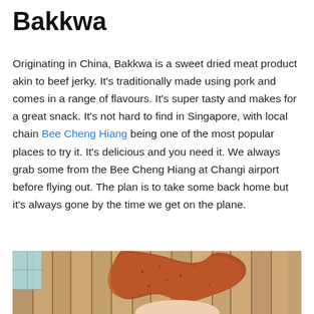Bakkwa
Originating in China, Bakkwa is a sweet dried meat product akin to beef jerky. It's traditionally made using pork and comes in a range of flavours. It's super tasty and makes for a great snack. It's not hard to find in Singapore, with local chain Bee Cheng Hiang being one of the most popular places to try it. It's delicious and you need it. We always grab some from the Bee Cheng Hiang at Changi airport before flying out. The plan is to take some back home but it's always gone by the time we get on the plane.
[Figure (photo): Photo of a piece of bakkwa (sweet dried pork) held up by a hand, with a wooden panel background and a window visible in the top left corner.]